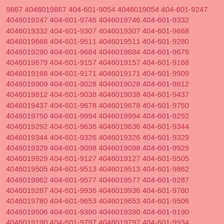9867 4046019867 404-601-9054 4046019054 404-601-9247 4046019247 404-601-9746 4046019746 404-601-9332 4046019332 404-601-9307 4046019307 404-601-9668 4046019668 404-601-9511 4046019511 404-601-9280 4046019280 404-601-9684 4046019684 404-601-9679 4046019679 404-601-9157 4046019157 404-601-9168 4046019168 404-601-9171 4046019171 404-601-9909 4046019909 404-601-9028 4046019028 404-601-9812 4046019812 404-601-9038 4046019038 404-601-9437 4046019437 404-601-9678 4046019678 404-601-9750 4046019750 404-601-9994 4046019994 404-601-9292 4046019292 404-601-9636 4046019636 404-601-9344 4046019344 404-601-9326 4046019326 404-601-9329 4046019329 404-601-9098 4046019098 404-601-9929 4046019929 404-601-9127 4046019127 404-601-9505 4046019505 404-601-9513 4046019513 404-601-9862 4046019862 404-601-9577 4046019577 404-601-9287 4046019287 404-601-9936 4046019936 404-601-9780 4046019780 404-601-9653 4046019653 404-601-9506 4046019506 404-601-9390 4046019390 404-601-9190 4046019190 404-601-9797 4046019797 404-601-9934 4046019934 404-601-9830 4046019830 404-601-9358 4046019358 404-601-9874 4046019874 404-601-9068 4046019068 404-601-9195 4046019195 404-601-9270 4046019270 404-601-9299 4046019299 404-601-9711 4046019711 404-601-9939 4046019939 404-601-9808 4046019808 404-601-9604 4046019604 404-601-9766 4046019766 404-601-9294 4046019294 404-601-9632 4046019632 404-601-9543 4046019543 404-601-9426 4046019426 404-601-9585 4046019585 404-601-9050 4046019050 404-601-9374 4046019374 404-601-9657 4046019657 404-601-